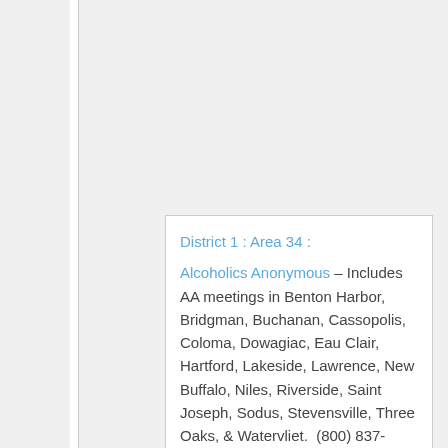District 1 : Area 34 : Alcoholics Anonymous – Includes AA meetings in Benton Harbor, Bridgman, Buchanan, Cassopolis, Coloma, Dowagiac, Eau Clair, Hartford, Lakeside, Lawrence, New Buffalo, Niles, Riverside, Saint Joseph, Sodus, Stevensville, Three Oaks, & Watervliet. (800) 837-4247. (269)